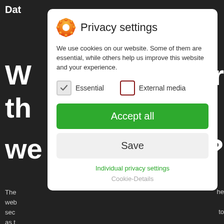[Figure (screenshot): Dark website background with partial text visible behind a privacy settings modal dialog]
[Figure (infographic): Privacy settings modal dialog with cookie consent options including Essential and External media checkboxes, Accept all button, Save button, Individual privacy settings link, and Cookie-Details link]